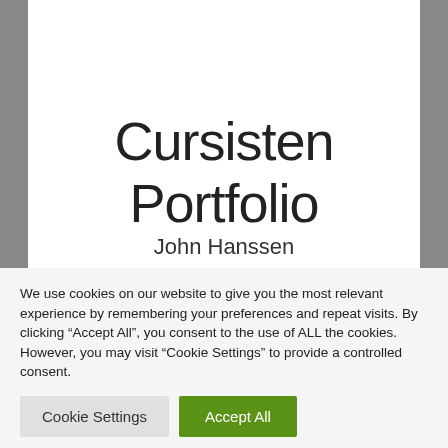Portfolio
Wendy Toenbreker
Cursisten Portfolio
John Hanssen
We use cookies on our website to give you the most relevant experience by remembering your preferences and repeat visits. By clicking “Accept All”, you consent to the use of ALL the cookies. However, you may visit "Cookie Settings" to provide a controlled consent.